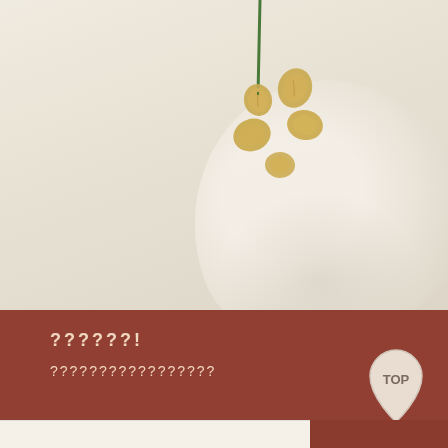[Figure (illustration): Botanical illustration of soybean seeds/legume seeds falling from a stem against a soft cream/beige background with a large white petal or leaf shape in the lower right.]
??????!
?????????????????
[Figure (other): A leaf-shaped TOP button/badge in pale pink/cream color with the text TOP inside.]